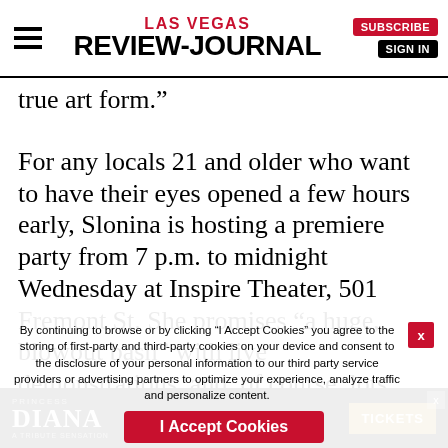Las Vegas Review-Journal
true art form.”
For any locals 21 and older who want to have their eyes opened a few hours early, Slonina is hosting a premiere party from 7 p.m. to midnight Wednesday at Inspire Theater, 501 Fremont St. She promises “a huge, blowout bash” with live demonstrations, and, of course, lots and lots of body painted models.
Slonina hopes it inspires many such
By continuing to browse or by clicking “I Accept Cookies” you agree to the storing of first-party and third-party cookies on your device and consent to the disclosure of your personal information to our third party service providers or advertising partners to optimize your experience, analyze traffic and personalize content.
[Figure (screenshot): Bottom ad banner for Princess Diana tribute show with TICKETS button]